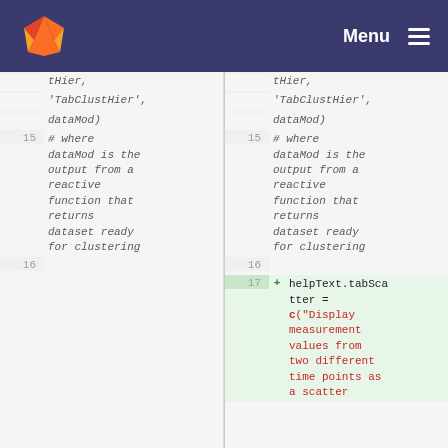GitLab Menu
Left diff pane: lines showing tHier, 'TabClustHier', dataMod) and line 15: # where dataMod is the output from a reactive function that returns dataset ready for clustering. Line 16 empty.
Right diff pane: lines showing tHier, 'TabClustHier', dataMod) and line 15: # where dataMod is the output from a reactive function that returns dataset ready for clustering. Line 16 empty. Line 17 added: + helpText.tabScatter = c("Display measurement values from two different time points as a scatter"